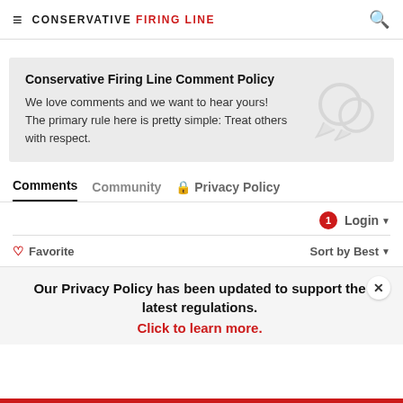CONSERVATIVE FIRING LINE
Conservative Firing Line Comment Policy
We love comments and we want to hear yours! The primary rule here is pretty simple: Treat others with respect.
Comments  Community  🔒 Privacy Policy
1  Login ▾
♡ Favorite  Sort by Best ▾
Our Privacy Policy has been updated to support the latest regulations.
Click to learn more.